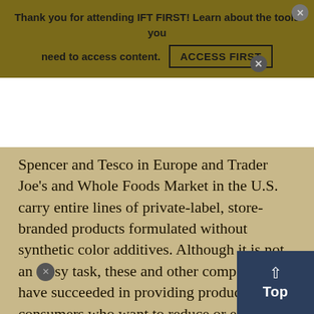Thank you for attending IFT FIRST! Learn about the tools you need to access content. ACCESS FIRST
Spencer and Tesco in Europe and Trader Joe's and Whole Foods Market in the U.S. carry entire lines of private-label, store-branded products formulated without synthetic color additives. Although it is not an easy task, these and other companies have succeeded in providing products to consumers who want to reduce or eliminate their intake of synthetic additives. In a company press release from 2008, David Gregory, Director of Technology at Marks & Spencer, commented that there were challenges faced in reformulating some of the more than 900 products over the